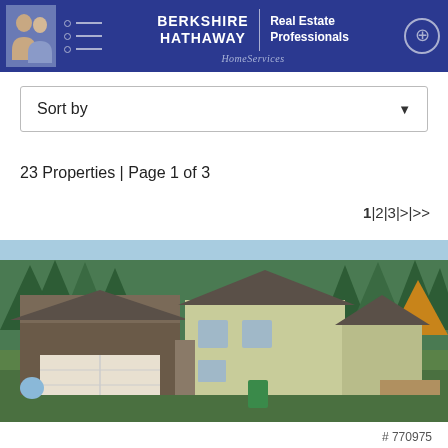BERKSHIRE HATHAWAY HomeServices | Real Estate Professionals
Sort by
23 Properties | Page 1 of 3
1 | 2 | 3 | > | >>
[Figure (photo): Exterior photo of a residential property with a two-car garage, stone and yellow siding, surrounded by evergreen trees and autumn foliage, with a paved driveway and green lawn.]
# 770975